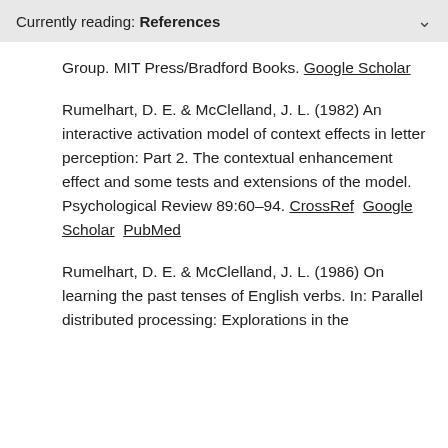Currently reading: References
Group. MIT Press/Bradford Books. Google Scholar
Rumelhart, D. E. & McClelland, J. L. (1982) An interactive activation model of context effects in letter perception: Part 2. The contextual enhancement effect and some tests and extensions of the model. Psychological Review 89:60–94. CrossRef  Google Scholar  PubMed
Rumelhart, D. E. & McClelland, J. L. (1986) On learning the past tenses of English verbs. In: Parallel distributed processing: Explorations in the